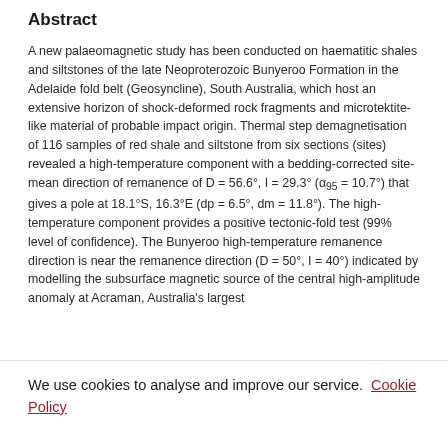Abstract
A new palaeomagnetic study has been conducted on haematitic shales and siltstones of the late Neoproterozoic Bunyeroo Formation in the Adelaide fold belt (Geosyncline), South Australia, which host an extensive horizon of shock-deformed rock fragments and microtektite-like material of probable impact origin. Thermal step demagnetisation of 116 samples of red shale and siltstone from six sections (sites) revealed a high-temperature component with a bedding-corrected site-mean direction of remanence of D = 56.6°, I = 29.3° (α95 = 10.7°) that gives a pole at 18.1°S, 16.3°E (dp = 6.5°, dm = 11.8°). The high-temperature component provides a positive tectonic-fold test (99% level of confidence). The Bunyeroo high-temperature remanence direction is near the remanence direction (D = 50°, I = 40°) indicated by modelling the subsurface magnetic source of the central high-amplitude anomaly at Acraman, Australia's largest
We use cookies to analyse and improve our service. Cookie Policy